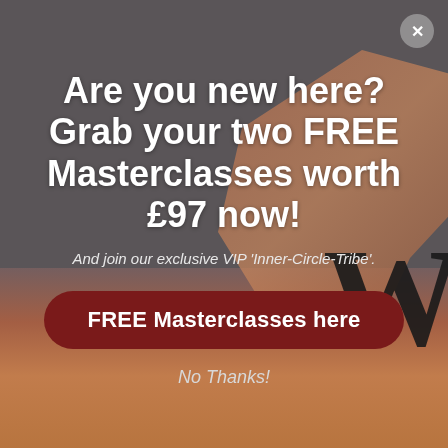[Figure (screenshot): Dark grey background with warm orange/brown sunset and tree silhouette in the right side, and a large letter W at bottom right]
Are you new here? Grab your two FREE Masterclasses worth £97 now!
And join our exclusive VIP 'Inner-Circle-Tribe'.
FREE Masterclasses here
No Thanks!